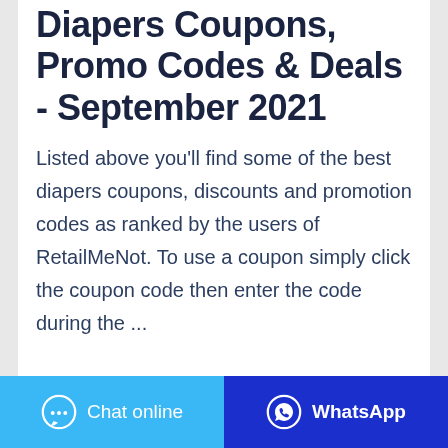Diapers Coupons, Promo Codes & Deals - September 2021
Listed above you'll find some of the best diapers coupons, discounts and promotion codes as ranked by the users of RetailMeNot. To use a coupon simply click the coupon code then enter the code during the ...
[Figure (other): Two buttons side by side: a blue-purple 'Contact The Manufacturer' button and a green 'WhatsApp' button]
[Figure (other): Bottom bar with two sections: light blue 'Chat online' button with chat icon on left, dark blue 'WhatsApp' button with WhatsApp icon on right]